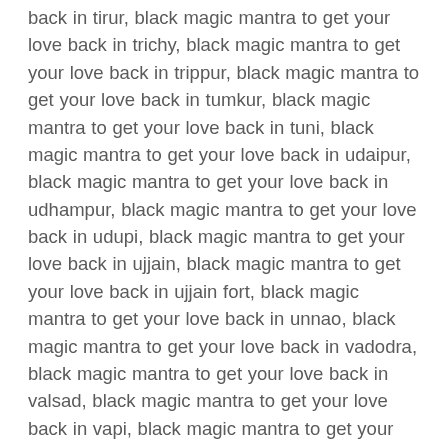back in tirur, black magic mantra to get your love back in trichy, black magic mantra to get your love back in trippur, black magic mantra to get your love back in tumkur, black magic mantra to get your love back in tuni, black magic mantra to get your love back in udaipur, black magic mantra to get your love back in udhampur, black magic mantra to get your love back in udupi, black magic mantra to get your love back in ujjain, black magic mantra to get your love back in ujjain fort, black magic mantra to get your love back in unnao, black magic mantra to get your love back in vadodra, black magic mantra to get your love back in valsad, black magic mantra to get your love back in vapi, black magic mantra to get your love back in varanasi, black magic mantra to get your love back in varkala, black magic mantra to get your love back in vasco da ama, black magic mantra to get your love back in vellore, black magic mantra to get your love back in vidisha, black magic mantra to get your love back in vijayawada, black magic mantra to get your love back in vishakhapatnam, black magic mantra to get your love back in vizianagaram, black magic mantra to get your love back in